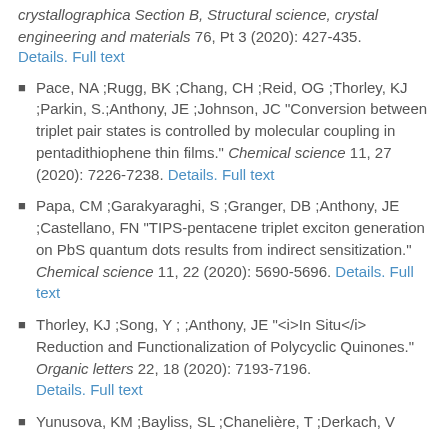crystallographica Section B, Structural science, crystal engineering and materials 76, Pt 3 (2020): 427-435. Details. Full text
Pace, NA ;Rugg, BK ;Chang, CH ;Reid, OG ;Thorley, KJ ;Parkin, S.;Anthony, JE ;Johnson, JC "Conversion between triplet pair states is controlled by molecular coupling in pentadithiophene thin films." Chemical science 11, 27 (2020): 7226-7238. Details. Full text
Papa, CM ;Garakyaraghi, S ;Granger, DB ;Anthony, JE ;Castellano, FN "TIPS-pentacene triplet exciton generation on PbS quantum dots results from indirect sensitization." Chemical science 11, 22 (2020): 5690-5696. Details. Full text
Thorley, KJ ;Song, Y ; ;Anthony, JE "<i>In Situ</i> Reduction and Functionalization of Polycyclic Quinones." Organic letters 22, 18 (2020): 7193-7196. Details. Full text
Yunusova, KM ;Bayliss, SL ;Chanelière, T ;Derkach, V